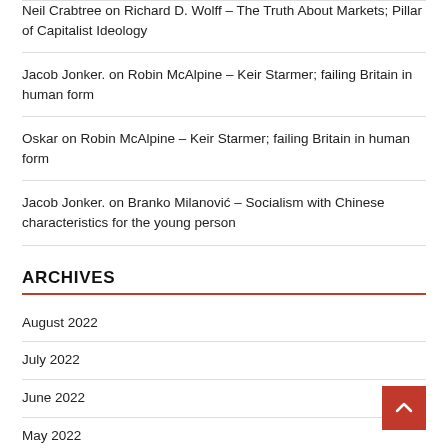Neil Crabtree on Richard D. Wolff – The Truth About Markets; Pillar of Capitalist Ideology
Jacob Jonker. on Robin McAlpine – Keir Starmer; failing Britain in human form
Oskar on Robin McAlpine – Keir Starmer; failing Britain in human form
Jacob Jonker. on Branko Milanović – Socialism with Chinese characteristics for the young person
ARCHIVES
August 2022
July 2022
June 2022
May 2022
April 2022
March 2022